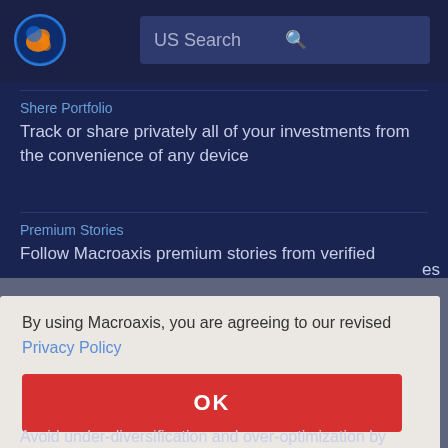[Figure (logo): Macroaxis globe logo with orange and blue colors]
US Search
Shere Portfolio
Track or share privately all of your investments from the convenience of any device
Premium Stories
Follow Macroaxis premium stories from verified
By using Macroaxis, you are agreeing to our revised Privacy Policy
OK
Avoid under-diversification and over-optimization by